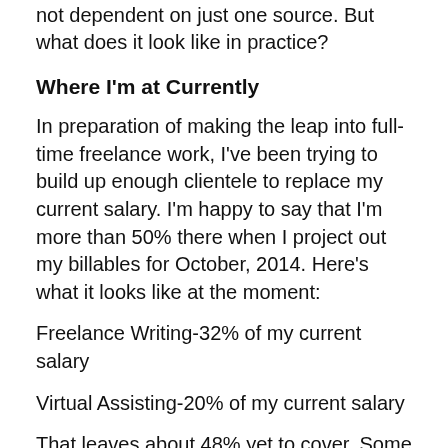not dependent on just one source. But what does it look like in practice?
Where I'm at Currently
In preparation of making the leap into full-time freelance work, I've been trying to build up enough clientele to replace my current salary. I'm happy to say that I'm more than 50% there when I project out my billables for October, 2014. Here's what it looks like at the moment:
Freelance Writing-32% of my current salary
Virtual Assisting-20% of my current salary
That leaves about 48% yet to cover. Some of